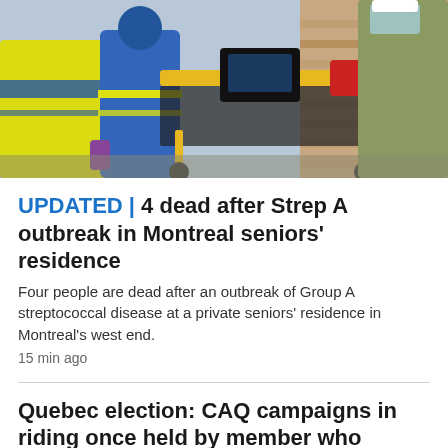[Figure (photo): Paramedics in protective gear with a yellow stretcher/gurney outside a building, one person in blue hazmat suit with hi-vis markings, another in olive/tan protective gown, ambulance visible on left]
UPDATED | 4 dead after Strep A outbreak in Montreal seniors' residence
Four people are dead after an outbreak of Group A streptococcal disease at a private seniors' residence in Montreal's west end.
15 min ago
Quebec election: CAQ campaigns in riding once held by member who betrayed party
3 hr ago